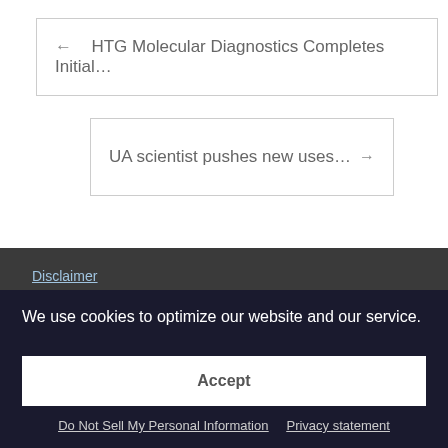← HTG Molecular Diagnostics Completes Initial…
UA scientist pushes new uses… →
Disclaimer
Privacy Policy
We use cookies to optimize our website and our service.
Accept
Do Not Sell My Personal Information    Privacy statement